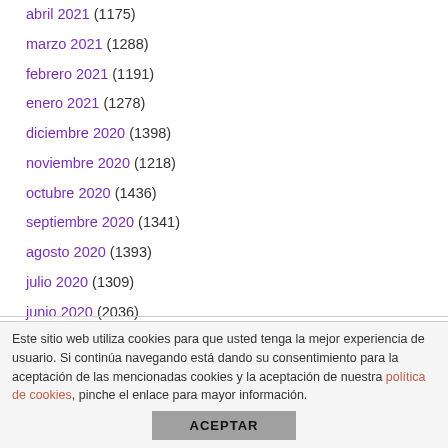abril 2021 (1175)
marzo 2021 (1288)
febrero 2021 (1191)
enero 2021 (1278)
diciembre 2020 (1398)
noviembre 2020 (1218)
octubre 2020 (1436)
septiembre 2020 (1341)
agosto 2020 (1393)
julio 2020 (1309)
junio 2020 (2036)
mayo 2020 (2730)
abril 2020 (2798)
Este sitio web utiliza cookies para que usted tenga la mejor experiencia de usuario. Si continúa navegando está dando su consentimiento para la aceptación de las mencionadas cookies y la aceptación de nuestra política de cookies, pinche el enlace para mayor información.